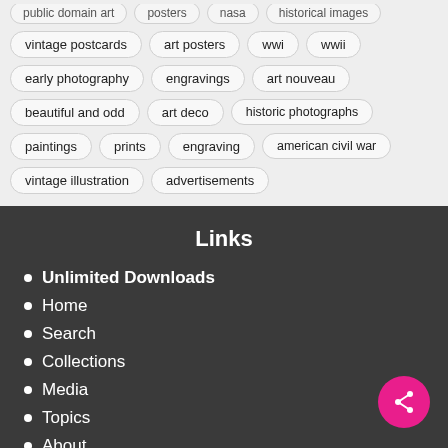public domain art
posters
nasa
historical images
vintage postcards
art posters
wwi
wwii
early photography
engravings
art nouveau
beautiful and odd
art deco
historic photographs
paintings
prints
engraving
american civil war
vintage illustration
advertisements
Links
Unlimited Downloads
Home
Search
Collections
Media
Topics
About
Privacy
Terms of Service